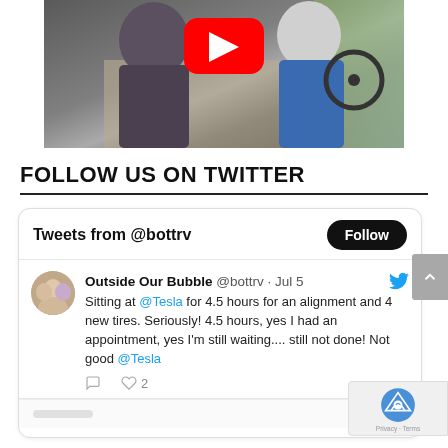[Figure (screenshot): YouTube video thumbnail showing two people sitting inside an RV/vehicle cab with a YouTube play button overlay]
FOLLOW US ON TWITTER
[Figure (screenshot): Twitter widget showing tweets from @bottrv with a Follow button, and a tweet from Outside Our Bubble @bottrv dated Jul 5 about waiting 4.5 hours at Tesla for alignment and new tires, with 2 likes]